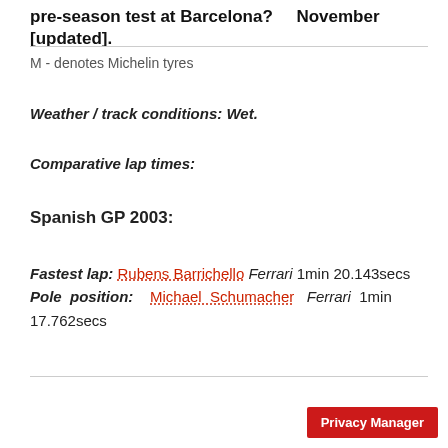pre-season test at Barcelona?      November [updated].
M - denotes Michelin tyres
Weather / track conditions: Wet.
Comparative lap times:
Spanish GP 2003:
Fastest lap: Rubens Barrichello Ferrari 1min 20.143secs
Pole position: Michael Schumacher Ferrari 1min 17.762secs
Privacy Manager